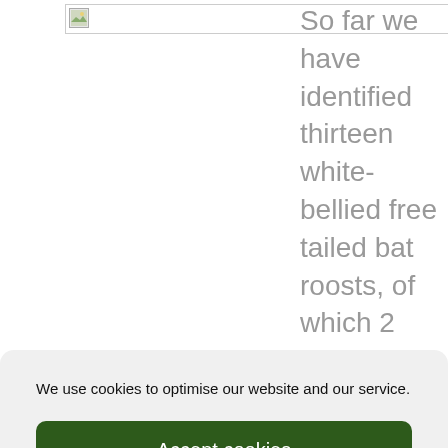[Figure (photo): Placeholder image icon in top-left area of the page content]
So far we have identified thirteen white-bellied free tailed bat roosts, of which 2
We use cookies to optimise our website and our service.
Accept cookies
Deny
View preferences
Cookie Policy   Privacy Policy